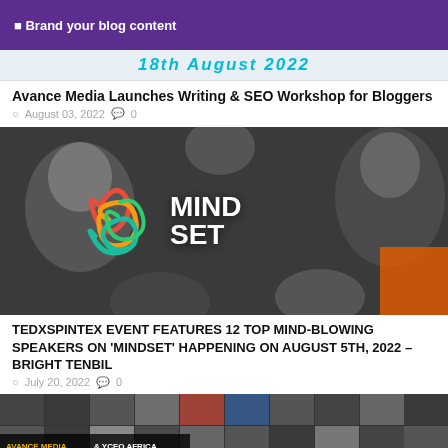[Figure (illustration): Purple banner with bullet point text 'Brand your blog content']
[Figure (illustration): Cyan decorative text banner showing '18th August 2022']
Avance Media Launches Writing & SEO Workshop for Bloggers
August 03, 2022  0
[Figure (photo): Black and white group photo of diverse people with 'MIND SET' logo overlay in colorful design]
TEDxSPINTEX EVENT FEATURES 12 TOP MIND-BLOWING SPEAKERS ON 'MINDSET' HAPPENING ON AUGUST 5TH, 2022 – BRIGHT TENBIL
July 20, 2022  0
[Figure (photo): Grid of faces/headshots with Avance Media & YCEO Africa banner at bottom left]